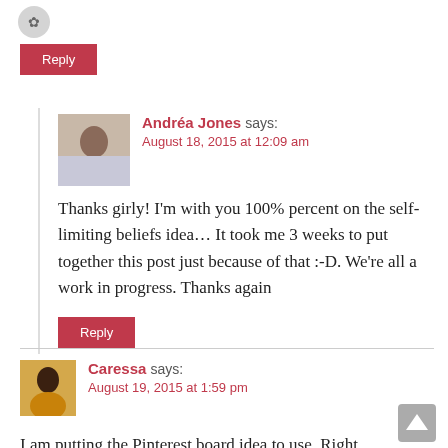[Figure (photo): Small circular logo/icon at top left]
Reply
[Figure (photo): Avatar photo of Andréa Jones, a woman in a purple shirt]
Andréa Jones says:
August 18, 2015 at 12:09 am
Thanks girly! I'm with you 100% percent on the self-limiting beliefs idea… It took me 3 weeks to put together this post just because of that :-D. We're all a work in progress. Thanks again
Reply
[Figure (photo): Avatar photo of Caressa, a woman in a yellow top]
Caressa says:
August 19, 2015 at 1:59 pm
I am putting the Pinterest board idea to use. Right